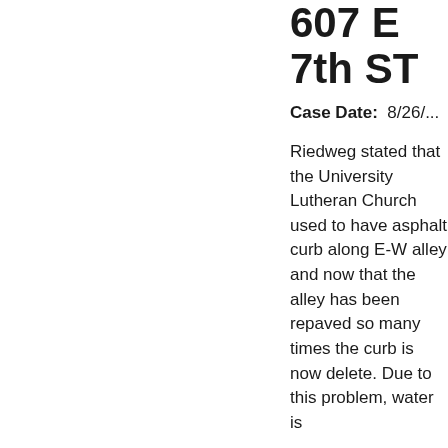607 E 7th ST
Case Date:  8/26/...
Riedweg stated that the University Lutheran Church used to have asphalt curb along E-W alley and now that the alley has been repaved so many times the curb is now delete. Due to this problem, water is